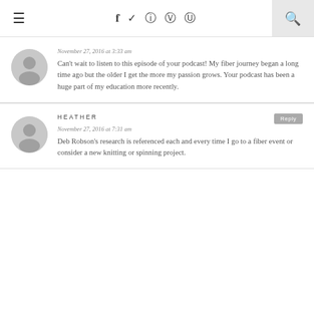≡  f  t  ☷  ☷  ☷  🔍
November 27, 2016 at 3:33 am
Can't wait to listen to this episode of your podcast! My fiber journey began a long time ago but the older I get the more my passion grows. Your podcast has been a huge part of my education more recently.
HEATHER
November 27, 2016 at 7:31 am
Deb Robson's research is referenced each and every time I go to a fiber event or consider a new knitting or spinning project.